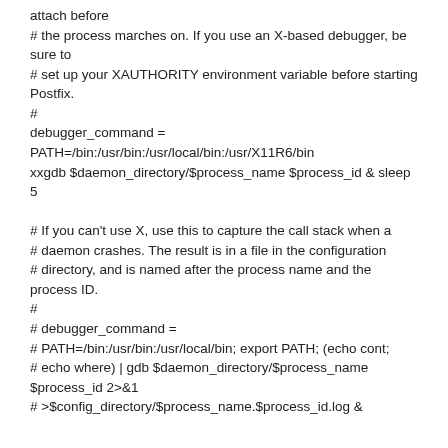attach before
# the process marches on. If you use an X-based debugger, be sure to
# set up your XAUTHORITY environment variable before starting Postfix.
#
debugger_command =
PATH=/bin:/usr/bin:/usr/local/bin:/usr/X11R6/bin
xxgdb $daemon_directory/$process_name $process_id & sleep 5

# If you can't use X, use this to capture the call stack when a
# daemon crashes. The result is in a file in the configuration
# directory, and is named after the process name and the process ID.
#
# debugger_command =
# PATH=/bin:/usr/bin:/usr/local/bin; export PATH; (echo cont;
# echo where) | gdb $daemon_directory/$process_name $process_id 2>&1
# >$config_directory/$process_name.$process_id.log &